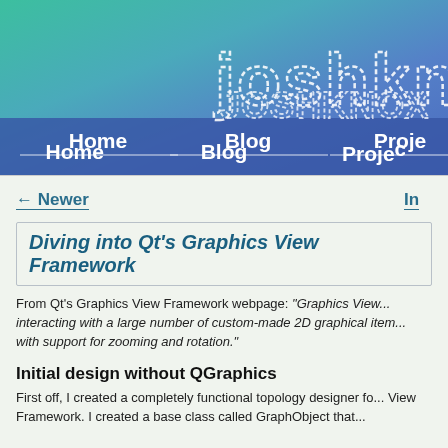[Figure (logo): joshknox stylized text logo in white dashed/outlined letters on teal-to-blue gradient background]
Home   Blog   Projects
← Newer
In
Diving into Qt's Graphics View Framework
From Qt's Graphics View Framework webpage: "Graphics View... interacting with a large number of custom-made 2D graphical items... with support for zooming and rotation."
Initial design without QGraphics
First off, I created a completely functional topology designer fo... View Framework. I created a base class called GraphObject that...